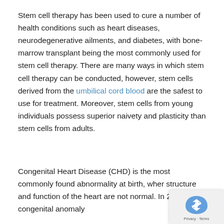Stem cell therapy has been used to cure a number of health conditions such as heart diseases, neurodegenerative ailments, and diabetes, with bone-marrow transplant being the most commonly used for stem cell therapy. There are many ways in which stem cell therapy can be conducted, however, stem cells derived from the umbilical cord blood are the safest to use for treatment. Moreover, stem cells from young individuals possess superior naivety and plasticity than stem cells from adults.
Congenital Heart Disease (CHD) is the most commonly found abnormality at birth, where structure and function of the heart are not normal. In 2014, this congenital anomaly